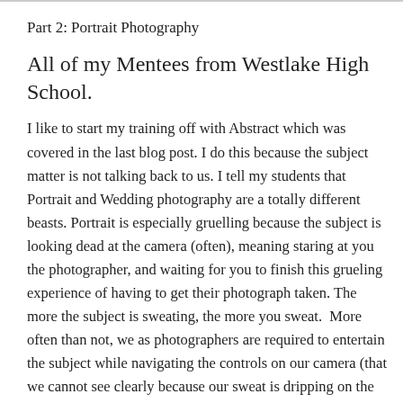Part 2: Portrait Photography
All of my Mentees from Westlake High School.
I like to start my training off with Abstract which was covered in the last blog post. I do this because the subject matter is not talking back to us. I tell my students that Portrait and Wedding photography are a totally different beasts. Portrait is especially gruelling because the subject is looking dead at the camera (often), meaning staring at you the photographer, and waiting for you to finish this grueling experience of having to get their photograph taken. The more the subject is sweating, the more you sweat.  More often than not, we as photographers are required to entertain the subject while navigating the controls on our camera (that we cannot see clearly because our sweat is dripping on the viewfinder) and praying to God that our wireless triggers and lighting will not suddenly stop communicating with each other (which they do). Portrait photography is indeed stressful for